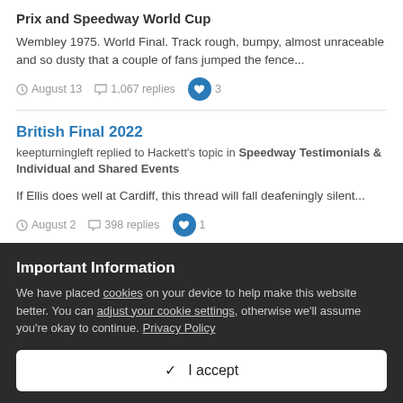Prix and Speedway World Cup
Wembley 1975. World Final. Track rough, bumpy, almost unraceable and so dusty that a couple of fans jumped the fence...
August 13  1,067 replies  3
British Final 2022
keepturningleft replied to Hackett's topic in Speedway Testimonials & Individual and Shared Events
If Ellis does well at Cardiff, this thread will fall deafeningly silent...
August 2  398 replies  1
Important Information
We have placed cookies on your device to help make this website better. You can adjust your cookie settings, otherwise we'll assume you're okay to continue. Privacy Policy
✓ I accept